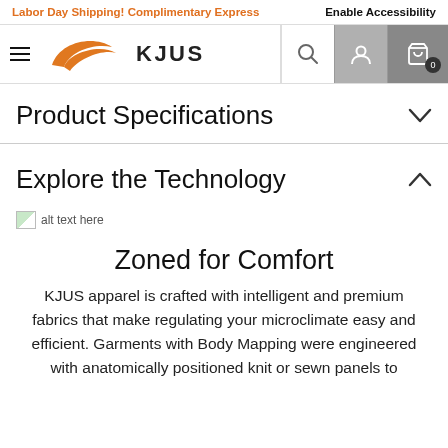Labor Day Shipping! Complimentary Express
Enable Accessibility
[Figure (logo): KJUS brand logo with orange swoosh graphic and KJUS wordmark]
Product Specifications
Explore the Technology
[Figure (photo): Broken image placeholder with alt text]
Zoned for Comfort
KJUS apparel is crafted with intelligent and premium fabrics that make regulating your microclimate easy and efficient. Garments with Body Mapping were engineered with anatomically positioned knit or sewn panels to